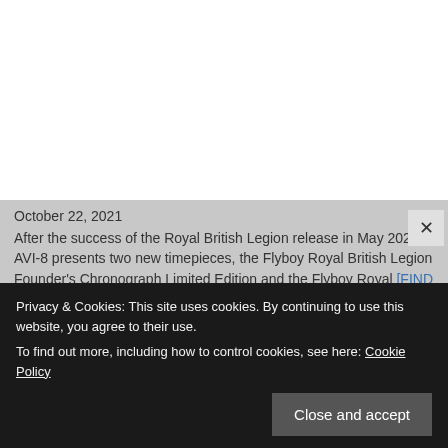October 22, 2021
After the success of the Royal British Legion release in May 2021, AVI-8 presents two new timepieces, the Flyboy Royal British Legion Founder's Chronograph Limited Edition and the Flyboy Royal [FIND MORE DETAILS]
DuFrane Bergstrom Air
October 16, 2021
DuFrane presents a new iteration of its classic, ultra traditional watch Bergstrom. The Bergstrom Air comes with
Privacy & Cookies: This site uses cookies. By continuing to use this website, you agree to their use.
To find out more, including how to control cookies, see here: Cookie Policy
Close and accept
August 1, 2021